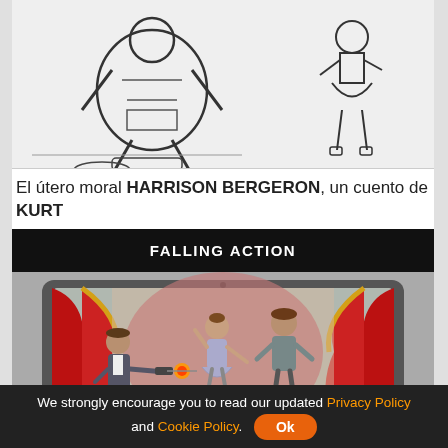[Figure (illustration): Black and white illustration showing a robot-like figure on the left with mechanical parts and a smaller figure in a dress on the right, both on a stage-like surface. Partial view, cropped at top.]
El útero moral HARRISON BERGERON, un cuento de KURT
FALLING ACTION
[Figure (illustration): Cartoon-style storyboard image shown on a laptop screen. Scene depicts a theater stage with red and gold curtains. A man in a suit on the left points a gun-like object shooting a fireball toward two figures (a ballerina and a taller person) on the right.]
We strongly encourage you to read our updated Privacy Policy and Cookie Policy.